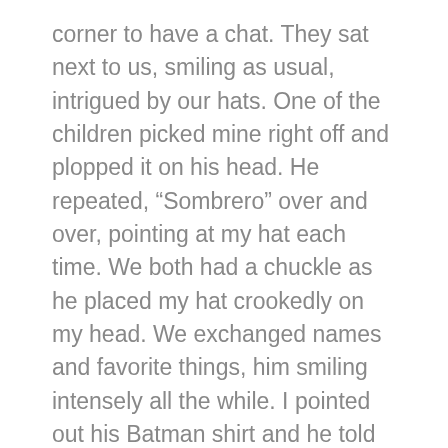corner to have a chat. They sat next to us, smiling as usual, intrigued by our hats. One of the children picked mine right off and plopped it on his head. He repeated, “Sombrero” over and over, pointing at my hat each time. We both had a chuckle as he placed my hat crookedly on my head. We exchanged names and favorite things, him smiling intensely all the while. I pointed out his Batman shirt and he told me he was his hero. He began to punch the air, emulating Batman beating up the bad guys.
I learned many things from Louis, even with my “Mal Español,” but the most interesting thing to me was how he managed to be so happy in a life much less fortunate than my